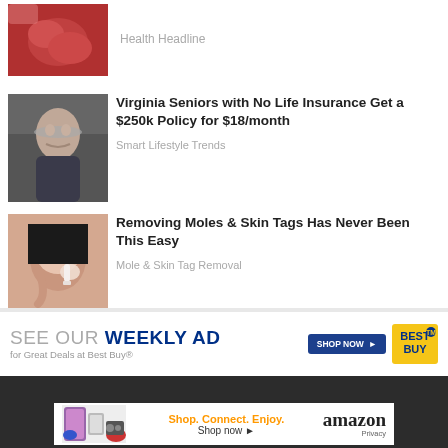[Figure (photo): Gummy candy held in hand, close-up, red/maroon colored]
Health Headline
[Figure (photo): Elderly woman with gray hair smiling, wearing dark jacket, outdoors]
Virginia Seniors with No Life Insurance Get a $250k Policy for $18/month
Smart Lifestyle Trends
[Figure (photo): Young woman applying cotton swab to face, skincare treatment]
Removing Moles & Skin Tags Has Never Been This Easy
Mole & Skin Tag Removal
[Figure (infographic): Best Buy weekly ad banner: SEE OUR WEEKLY AD for Great Deals at Best Buy® with SHOP NOW button and Best Buy logo]
[Figure (infographic): Amazon advertisement: Shop. Connect. Enjoy. Shop now with Amazon logo and Privacy text, showing various product images]